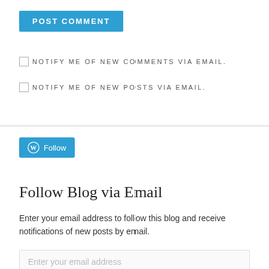POST COMMENT
NOTIFY ME OF NEW COMMENTS VIA EMAIL.
NOTIFY ME OF NEW POSTS VIA EMAIL.
[Figure (other): WordPress Follow button with WordPress logo icon]
Follow Blog via Email
Enter your email address to follow this blog and receive notifications of new posts by email.
Enter your email address